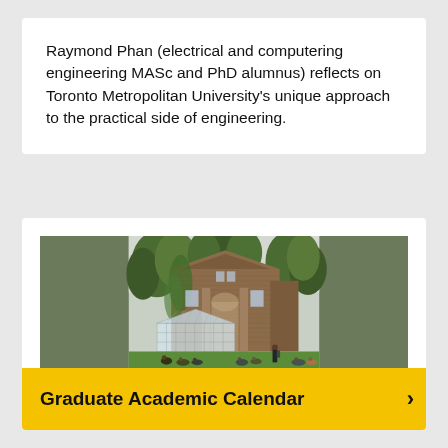Raymond Phan (electrical and computering engineering MASc and PhD alumnus) reflects on Toronto Metropolitan University's unique approach to the practical side of engineering.
[Figure (photo): Outdoor campus photo showing a brick university building with ivy, a glass greenhouse structure, and groups of students sitting on the lawn. Trees surround the building.]
Graduate Academic Calendar ›